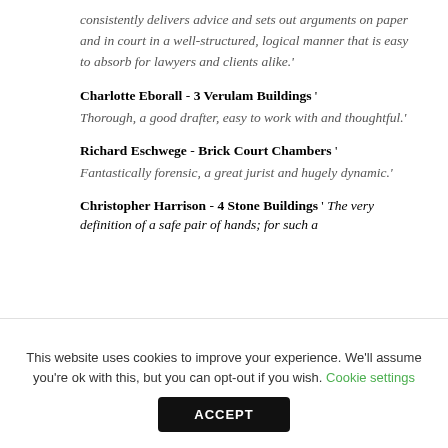consistently delivers advice and sets out arguments on paper and in court in a well-structured, logical manner that is easy to absorb for lawyers and clients alike.'
Charlotte Eborall - 3 Verulam Buildings ' Thorough, a good drafter, easy to work with and thoughtful.'
Richard Eschwege - Brick Court Chambers ' Fantastically forensic, a great jurist and hugely dynamic.'
Christopher Harrison - 4 Stone Buildings ' The very definition of a safe pair of hands; for such a
This website uses cookies to improve your experience. We'll assume you're ok with this, but you can opt-out if you wish. Cookie settings ACCEPT